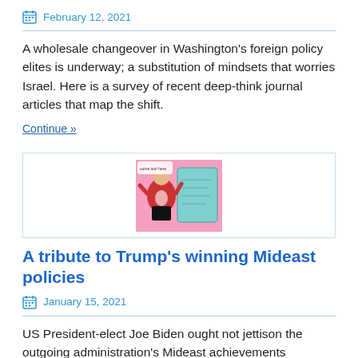February 12, 2021
A wholesale changeover in Washington's foreign policy elites is underway; a substitution of mindsets that worries Israel. Here is a survey of recent deep-think journal articles that map the shift.
Continue »
[Figure (illustration): A cartoon/illustration image showing a figure in red against a pink background with a teal/blue rectangular object, centered inside a bordered box.]
A tribute to Trump's winning Mideast policies
January 15, 2021
US President-elect Joe Biden ought not jettison the outgoing administration's Mideast achievements